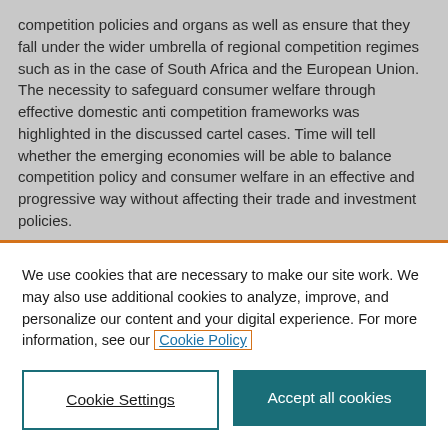competition policies and organs as well as ensure that they fall under the wider umbrella of regional competition regimes such as in the case of South Africa and the European Union. The necessity to safeguard consumer welfare through effective domestic anti competition frameworks was highlighted in the discussed cartel cases. Time will tell whether the emerging economies will be able to balance competition policy and consumer welfare in an effective and progressive way without affecting their trade and investment policies.
Suggested Citation >
We use cookies that are necessary to make our site work. We may also use additional cookies to analyze, improve, and personalize our content and your digital experience. For more information, see our Cookie Policy
Cookie Settings
Accept all cookies